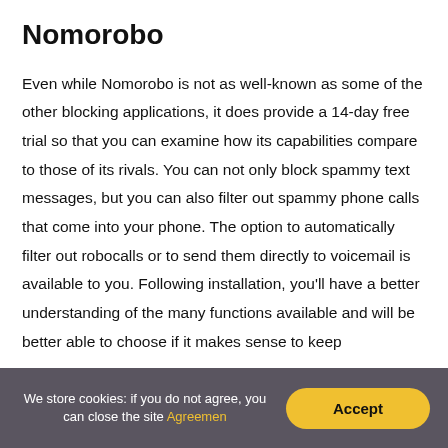Nomorobo
Even while Nomorobo is not as well-known as some of the other blocking applications, it does provide a 14-day free trial so that you can examine how its capabilities compare to those of its rivals. You can not only block spammy text messages, but you can also filter out spammy phone calls that come into your phone. The option to automatically filter out robocalls or to send them directly to voicemail is available to you. Following installation, you'll have a better understanding of the many functions available and will be better able to choose if it makes sense to keep
We store cookies: if you do not agree, you can close the site Agreement